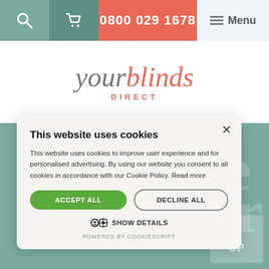0800 029 1678 | Menu
[Figure (logo): yourblinds DIRECT logo — 'your' in italic grey serif, 'blinds' in italic coral/red serif, 'DIRECT' in small coral spaced caps below]
[Figure (screenshot): Cookie consent dialog overlay on a teal/sage green background with partially visible text 'e' and 'ear']
This website uses cookies
This website uses cookies to improve user experience and for personalised advertising. By using our website you consent to all cookies in accordance with our Cookie Policy. Read more
ACCEPT ALL
DECLINE ALL
SHOW DETAILS
POWERED BY COOKIESCRIPT